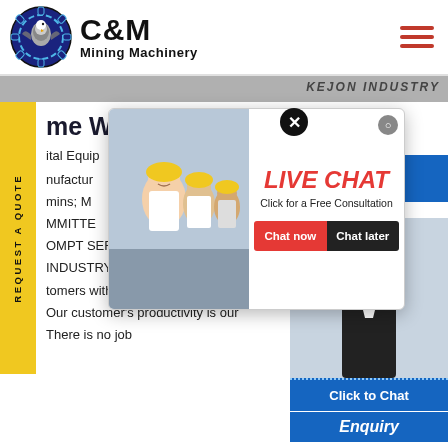[Figure (logo): C&M Mining Machinery logo with eagle/gear icon in dark blue circle]
[Figure (screenshot): Dark banner strip with 'KEJON INDUSTRY' text in background]
[Figure (infographic): Yellow vertical sidebar with rotated text 'REQUEST A QUOTE']
me Walden Equipment
ital Equip
nufactur
mins; M
MMITTE
OMPT SERVICE STRIVES ON FINDI
INDUSTRY LEADER. Our goal is to
tomers with prompt service dir
Our customer's productivity is our
There is no job
[Figure (infographic): Live Chat popup with workers photo, LIVE CHAT heading, 'Click for a Free Consultation' text, Chat now and Chat later buttons]
[Figure (infographic): Blue Hours/Online bar on right side]
[Figure (photo): Customer service agent with headset on right side panel]
Click to Chat
Enquiry